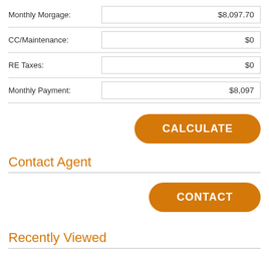| Field | Value |
| --- | --- |
| Monthly Morgage: | $8,097.70 |
| CC/Maintenance: | $0 |
| RE Taxes: | $0 |
| Monthly Payment: | $8,097 |
CALCULATE
Contact Agent
CONTACT
Recently Viewed